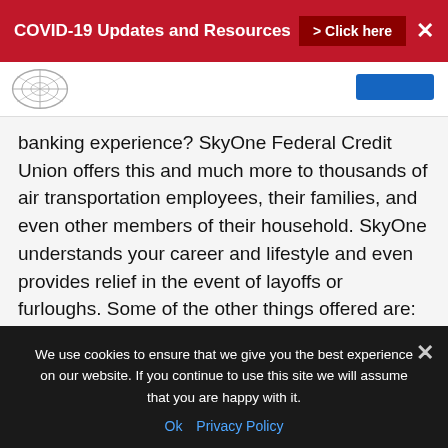COVID-19 Updates and Resources > Click here ✕
banking experience? SkyOne Federal Credit Union offers this and much more to thousands of air transportation employees, their families, and even other members of their household. SkyOne understands your career and lifestyle and even provides relief in the event of layoffs or furloughs. Some of the other things offered are:
Checking accounts
We use cookies to ensure that we give you the best experience on our website. If you continue to use this site we will assume that you are happy with it.
Ok   Privacy Policy